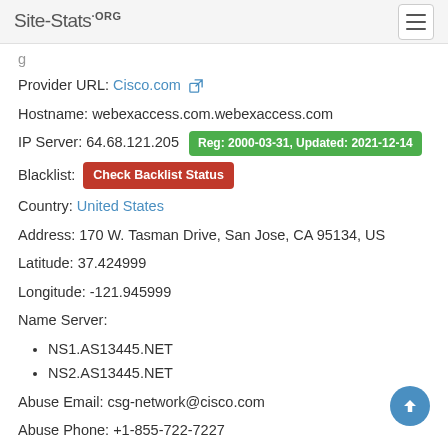Site-Stats.ORG
Provider URL: Cisco.com
Hostname: webexaccess.com.webexaccess.com
IP Server: 64.68.121.205  Reg: 2000-03-31, Updated: 2021-12-14
Blacklist: Check Backlist Status
Country: United States
Address: 170 W. Tasman Drive, San Jose, CA 95134, US
Latitude: 37.424999
Longitude: -121.945999
Name Server:
NS1.AS13445.NET
NS2.AS13445.NET
Abuse Email: csg-network@cisco.com
Abuse Phone: +1-855-722-7227